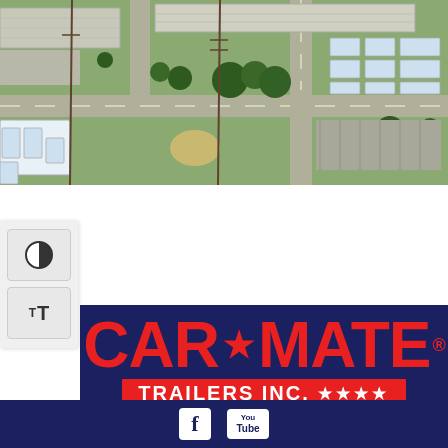[Figure (photo): Aerial drone photograph of Car-Mate Trailers Inc. facility showing buildings, parking lots with trailers, roads, and green lawns with trees.]
[Figure (logo): Car-Mate Trailers Inc. logo in red text on dark navy blue background with stars, including 'CAR★MATE® TRAILERS INC. ★★★★' text.]
[Figure (infographic): Social media icons: Facebook 'f' icon and YouTube icon on dark navy blue background.]